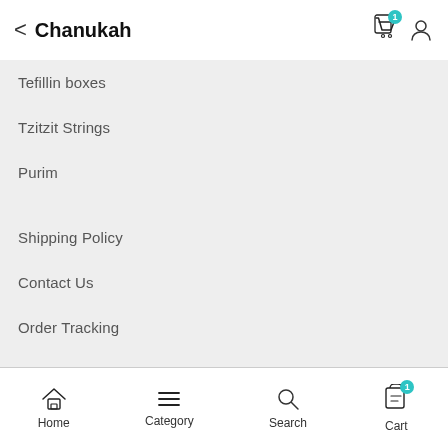Chanukah
Tefillin boxes
Tzitzit Strings
Purim
Shipping Policy
Contact Us
Order Tracking
Term & Conditions
Privacy Policy
Returns
Home  Category  Search  Cart